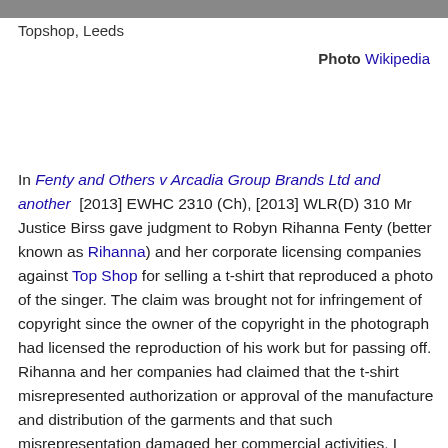[Figure (photo): Top portion of a photo, cropped at top of page (Topshop, Leeds store exterior or scene)]
Topshop, Leeds
Photo Wikipedia
In Fenty and Others v Arcadia Group Brands Ltd and another [2013] EWHC 2310 (Ch), [2013] WLR(D) 310 Mr Justice Birss gave judgment to Robyn Rihanna Fenty (better known as Rihanna) and her corporate licensing companies against Top Shop for selling a t-shirt that reproduced a photo of the singer. The claim was brought not for infringement of copyright since the owner of the copyright in the photograph had licensed the reproduction of his work but for passing off. Rihanna and her companies had claimed that the t-shirt misrepresented authorization or approval of the manufacture and distribution of the garments and that such misrepresentation damaged her commercial activities. I wrote about the case in Passing off -